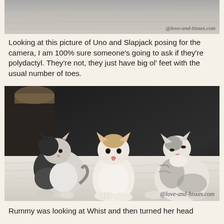[Figure (photo): Top portion of a photo showing a blurred/cropped cat image background with watermark @love-and-hisses.com in bottom right]
Looking at this picture of Uno and Slapjack posing for the camera, I am 100% sure someone's going to ask if they're polydactyl. They're not, they just have big ol' feet with the usual number of toes.
[Figure (photo): Photo of three kittens sitting/posing on a white blanket against a dark background. Left kitten is black and white, middle kitten is cream/white with tan head markings facing camera, right kitten is white with gray tabby markings tilting head back. Watermark @love-and-hisses.com in bottom right.]
Rummy was looking at Whist and then turned her head